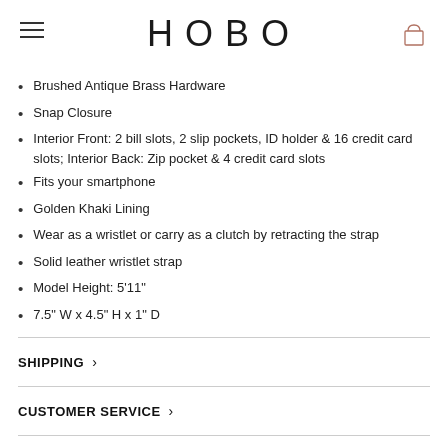HOBO
Brushed Antique Brass Hardware
Snap Closure
Interior Front: 2 bill slots, 2 slip pockets, ID holder & 16 credit card slots; Interior Back: Zip pocket & 4 credit card slots
Fits your smartphone
Golden Khaki Lining
Wear as a wristlet or carry as a clutch by retracting the strap
Solid leather wristlet strap
Model Height: 5'11"
7.5" W x 4.5" H x 1" D
SHIPPING
CUSTOMER SERVICE